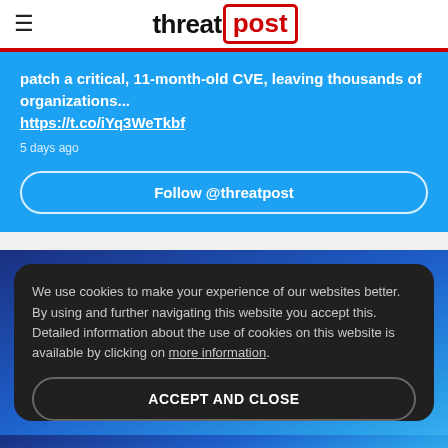threatpost
patch a critical, 11-month-old CVE, leaving thousands of organizations... https://t.co/iYq3WeTkbf
5 days ago
Follow @threatpost
We use cookies to make your experience of our websites better. By using and further navigating this website you accept this. Detailed information about the use of cookies on this website is available by clicking on more information.
ACCEPT AND CLOSE